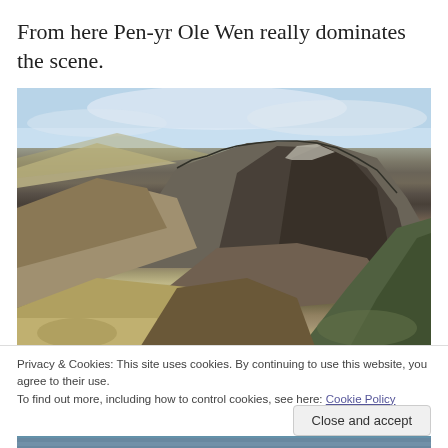From here Pen-yr Ole Wen really dominates the scene.
[Figure (photo): Landscape photograph of Pen-yr Ole Wen mountain dominating the scene, with rocky slopes, a valley, and green hillsides in the foreground under a partly cloudy sky.]
Privacy & Cookies: This site uses cookies. By continuing to use this website, you agree to their use.
To find out more, including how to control cookies, see here: Cookie Policy
Close and accept
[Figure (photo): Partial view of another landscape photograph at the bottom of the page.]